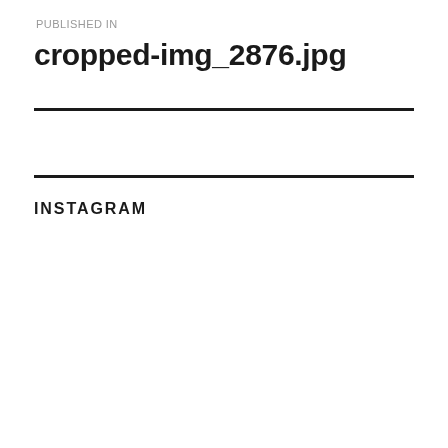PUBLISHED IN
cropped-img_2876.jpg
INSTAGRAM